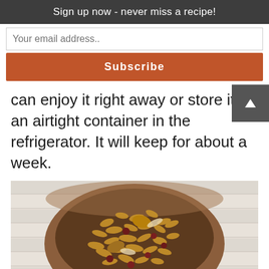Sign up now - never miss a recipe!
Your email address..
Subscribe
can enjoy it right away or store it in an airtight container in the refrigerator. It will keep for about a week.
[Figure (photo): A wooden bowl filled with granola (oats, nuts, dried cranberries) placed on a white knitted trivet against a white wood plank background.]